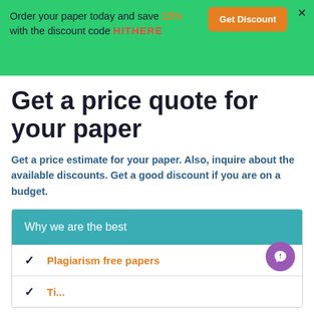Order your paper today and save 15% with the discount code HITHERE
Get Discount
Get a price quote for your paper
Get a price estimate for your paper. Also, inquire about the available discounts. Get a good discount if you are on a budget.
Why we are the best
Plagiarism free papers
Timely delivery